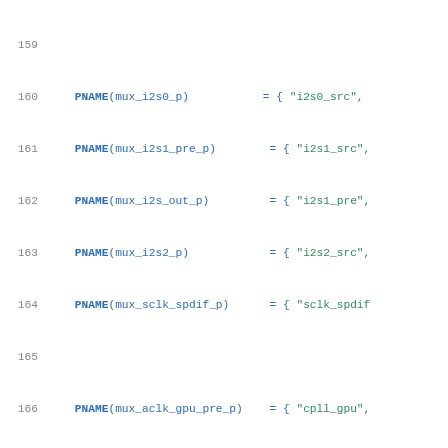Source code listing lines 159-180 showing PNAME macro calls and static struct definition for rockchip_pll_clock rk3228_pll_clks